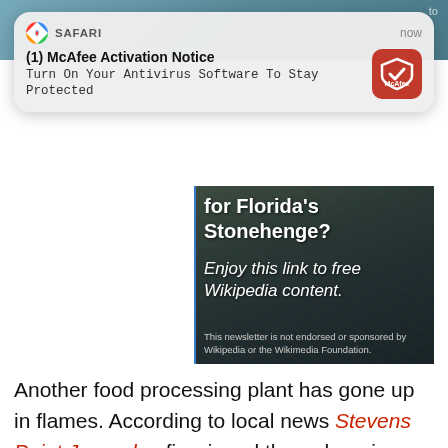[Figure (screenshot): iOS Safari browser notification overlay reading '(1) McAfee Activation Notice - Turn On Your Antivirus Software To Stay Protected' with McAfee red icon, shown over a webpage with a Wikipedia newsletter banner about Florida's Stonehenge and article text about a food processing plant fire.]
[Figure (photo): Dark rocky background image with text: 'for Florida's Stonehenge?' and italic 'Enjoy this link to free Wikipedia content.' with small footnote 'This newsletter is not endorsed or sponsored by Wikipedia or the Wikimedia Foundation.']
Another food processing plant has gone up in flames. According to local news Stevens Point Journal, a fire ripped through a pizza-making plant in Wisconsin on Monday.
In all fairness, this plant makes “food-like products”, but those experiencing financial difficulties often find the speed and ease of these items to be all too